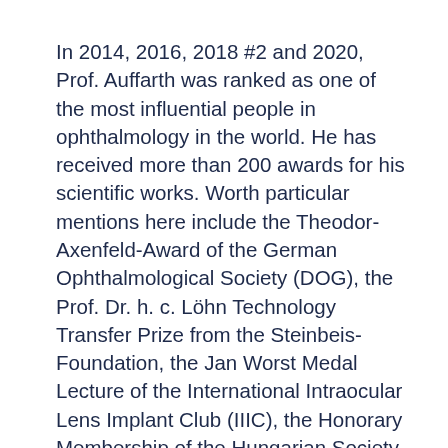In 2014, 2016, 2018 #2 and 2020, Prof. Auffarth was ranked as one of the most influential people in ophthalmology in the world. He has received more than 200 awards for his scientific works. Worth particular mentions here include the Theodor-Axenfeld-Award of the German Ophthalmological Society (DOG), the Prof. Dr. h. c. Löhn Technology Transfer Prize from the Steinbeis-Foundation, the Jan Worst Medal Lecture of the International Intraocular Lens Implant Club (IIIC), the Honorary Membership of the Hungarian Society for Intraocular Lenses (SHIOL) and of the Associacón Española de Tecnología y Cirugía de Implantes, Refractiva y Córnea" (ASETCIRC).
For the past 20 years, Prof. Auffarth has served on the board of German Society of Cataract and